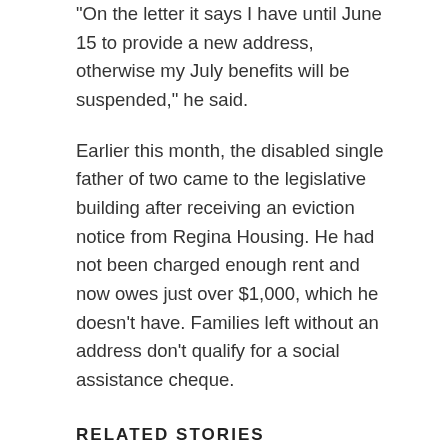"On the letter it says I have until June 15 to provide a new address, otherwise my July benefits will be suspended," he said.
Earlier this month, the disabled single father of two came to the legislative building after receiving an eviction notice from Regina Housing. He had not been charged enough rent and now owes just over $1,000, which he doesn't have. Families left without an address don't qualify for a social assistance cheque.
RELATED STORIES
'A downhill battle': Stories of social assistance struggles in spotlight at Sask. Legislature